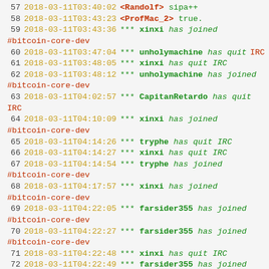57  2018-03-11T03:40:02  <Randolf> sipa++
58  2018-03-11T03:43:23  <ProfMac_2> true.
59  2018-03-11T03:43:36  *** xinxi has joined #bitcoin-core-dev
60  2018-03-11T03:47:04  *** unholymachine has quit IRC
61  2018-03-11T03:48:05  *** xinxi has quit IRC
62  2018-03-11T03:48:12  *** unholymachine has joined #bitcoin-core-dev
63  2018-03-11T04:02:57  *** CapitanRetardo has quit IRC
64  2018-03-11T04:10:09  *** xinxi has joined #bitcoin-core-dev
65  2018-03-11T04:14:26  *** tryphe has quit IRC
66  2018-03-11T04:14:27  *** xinxi has quit IRC
67  2018-03-11T04:14:54  *** tryphe has joined #bitcoin-core-dev
68  2018-03-11T04:17:57  *** xinxi has joined #bitcoin-core-dev
69  2018-03-11T04:22:05  *** farsider355 has joined #bitcoin-core-dev
70  2018-03-11T04:22:27  *** farsider355 has joined #bitcoin-core-dev
71  2018-03-11T04:22:48  *** xinxi has quit IRC
72  2018-03-11T04:22:49  *** farsider355 has joined #bitcoin-core-dev
73  2018-03-11T04:23:12  *** farsider355 has joined #bitcoin-core-dev #bitcoin-core-dev